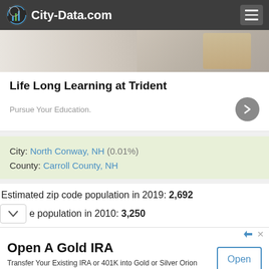City-Data.com
[Figure (screenshot): Partial image of a person working at a desk, used as advertisement background for Trident education]
Life Long Learning at Trident
Pursue Your Education.
City: North Conway, NH (0.01%)
County: Carroll County, NH
Estimated zip code population in 2019: 2,692
population in 2010: 3,250
Open A Gold IRA
Transfer Your Existing IRA or 401K into Gold or Silver Orion Metal Exchange